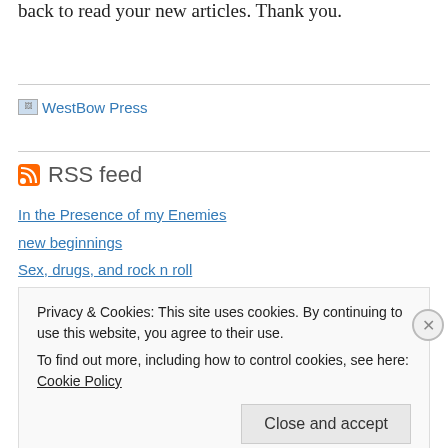back to read your new articles. Thank you.
[Figure (logo): WestBow Press logo with small image icon and text link]
RSS feed
In the Presence of my Enemies
new beginnings
Sex, drugs, and rock n roll
Broken Kingdom Living
Privacy & Cookies: This site uses cookies. By continuing to use this website, you agree to their use.
To find out more, including how to control cookies, see here: Cookie Policy